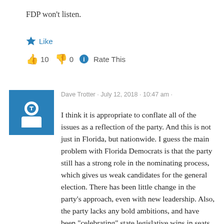FDP won't listen.
Like
👍 10  👎 0  ℹ Rate This
Dave Trotter · July 12, 2018 · 10:47 am ·
I think it is appropriate to conflate all of the issues as a reflection of the party. And this is not just in Florida, but nationwide. I guess the main problem with Florida Democrats is that the party still has a strong role in the nominating process, which gives us weak candidates for the general election. There has been little change in the party's approach, even with new leadership. Also, the party lacks any bold ambitions, and have been "celebrating" state legislative wins in seats that Democrats should hold in the first place. Sorry, but the South Florida wins were not impressive at all. Winning